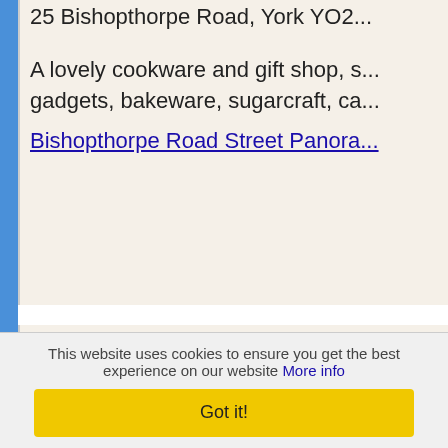25 Bishopthorpe Road, York YO2...
A lovely cookware and gift shop, s... gadgets, bakeware, sugarcraft, ca...
Bishopthorpe Road Street Panora...
Farm Shops Near Yo...
Farmhouse Preserves, Crayke
Mill Green Farm, Crayke, YO61 4...
farmhousepreserves.co.uk
Changing Seasons
Sutton-on-the-Forest, York YO61 ...
The shop is easy to spot. Approac...
This website uses cookies to ensure you get the best experience on our website More info
Got it!